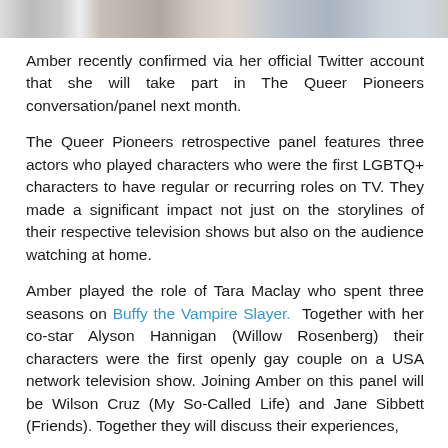[Figure (photo): Partial photo strip at the top of the page showing cropped images of people]
Amber recently confirmed via her official Twitter account that she will take part in The Queer Pioneers conversation/panel next month.
The Queer Pioneers retrospective panel features three actors who played characters who were the first LGBTQ+ characters to have regular or recurring roles on TV. They made a significant impact not just on the storylines of their respective television shows but also on the audience watching at home.
Amber played the role of Tara Maclay who spent three seasons on Buffy the Vampire Slayer. Together with her co-star Alyson Hannigan (Willow Rosenberg) their characters were the first openly gay couple on a USA network television show. Joining Amber on this panel will be Wilson Cruz (My So-Called Life) and Jane Sibbett (Friends). Together they will discuss their experiences,